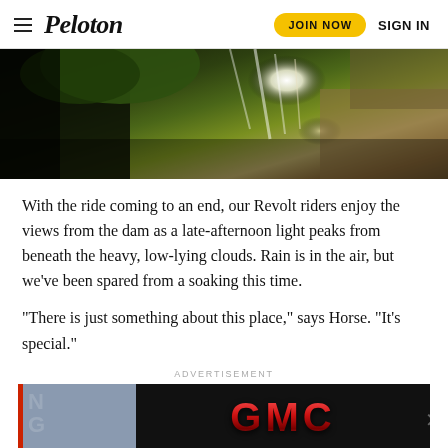Peloton | JOIN NOW | SIGN IN
[Figure (photo): Aerial or top-down view of a waterfall or dam with rushing white water, surrounded by dark rocky terrain and green foliage, with warm late-afternoon light breaking through clouds on the right side.]
With the ride coming to an end, our Revolt riders enjoy the views from the dam as a late-afternoon light peaks from beneath the heavy, low-lying clouds. Rain is in the air, but we’ve been spared from a soaking this time.
“There is just something about this place,” says Horse. “It’s special.”
ADVERTISEMENT
[Figure (photo): Advertisement banner: left portion shows a blue-gray background with large translucent text and a red vertical bar on the left edge; right portion shows GMC logo in red metallic lettering on a black background with a close button (x) on the far right.]